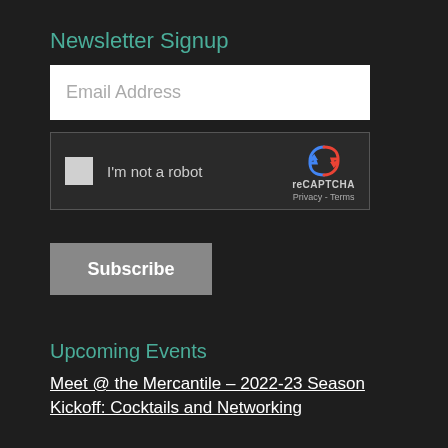Newsletter Signup
[Figure (screenshot): Email address input field with white background and placeholder text 'Email Address']
[Figure (screenshot): reCAPTCHA widget with checkbox labeled 'I'm not a robot' and reCAPTCHA logo on dark background]
[Figure (screenshot): Subscribe button in gray with white bold text]
Upcoming Events
Meet @ the Mercantile – 2022-23 Season Kickoff: Cocktails and Networking